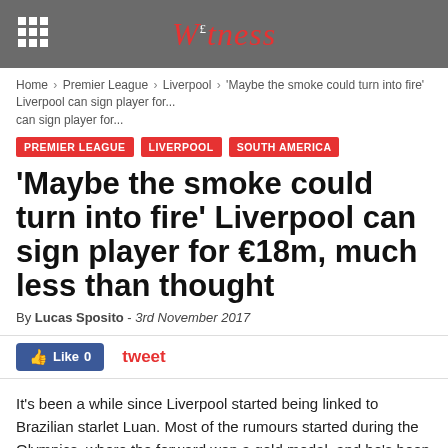Witness [logo]
Home › Premier League › Liverpool › 'Maybe the smoke could turn into fire' Liverpool can sign player for...
PREMIER LEAGUE
LIVERPOOL
SOUTH AMERICA
'Maybe the smoke could turn into fire' Liverpool can sign player for €18m, much less than thought
By Lucas Sposito - 3rd November 2017
Like 0   tweet
It's been a while since Liverpool started being linked to Brazilian starlet Luan. Most of the rumours started during the Olympics, where the forward won a gold medal, and he's been proving himself to be a real deal since then.
Luan was